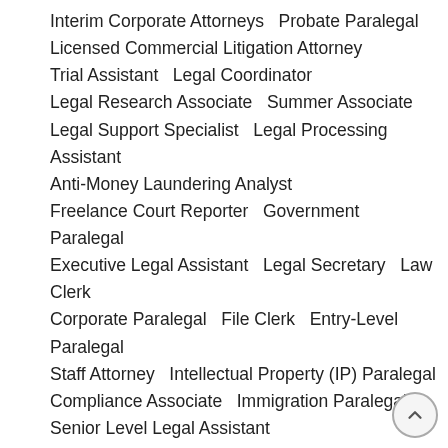Interim Corporate Attorneys   Probate Paralegal
Licensed Commercial Litigation Attorney
Trial Assistant   Legal Coordinator
Legal Research Associate   Summer Associate
Legal Support Specialist   Legal Processing Assistant
Anti-Money Laundering Analyst
Freelance Court Reporter   Government Paralegal
Executive Legal Assistant   Legal Secretary   Law Clerk
Corporate Paralegal   File Clerk   Entry-Level Paralegal
Staff Attorney   Intellectual Property (IP) Paralegal
Compliance Associate   Immigration Paralegal
Senior Level Legal Assistant
Legal Administrative Assistant   Family Law Paralegal
Part Time Legal Assistant   Victim Advocate